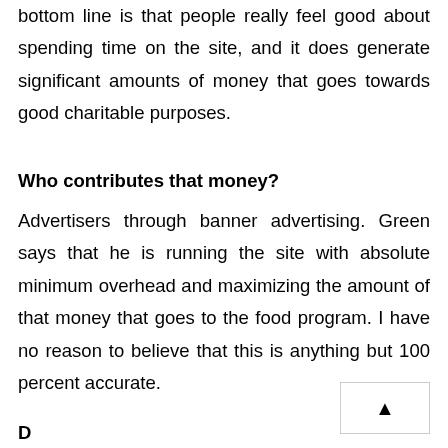bottom line is that people really feel good about spending time on the site, and it does generate significant amounts of money that goes towards good charitable purposes.
Who contributes that money?
Advertisers through banner advertising. Green says that he is running the site with absolute minimum overhead and maximizing the amount of that money that goes to the food program. I have no reason to believe that this is anything but 100 percent accurate.